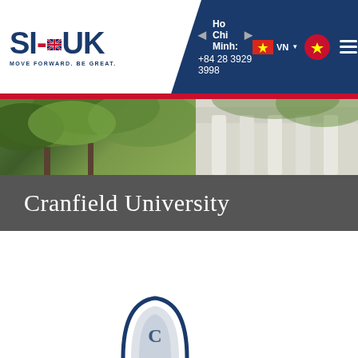[Figure (logo): SI-UK logo with tagline MOVE FORWARD. BE GREAT.]
Ho Chi Minh: +84 28 3929 3998
[Figure (photo): Hero banner showing trees and classical building columns]
Cranfield University
[Figure (logo): Cranfield University logo partially visible at bottom]